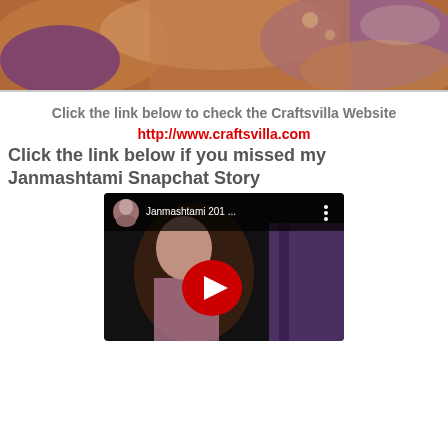[Figure (photo): Cropped photo showing traditional Indian clothing/fabric with orange and purple hues, likely a saree or ethnic dress]
Click the link below to check the Craftsvilla Website
http://www.craftsvilla.com
Click the link below if you missed my Janmashtami Snapchat Story
[Figure (screenshot): YouTube video thumbnail showing a woman in traditional Indian dress, with video title 'Janmashtami 201...' and YouTube play button overlay]